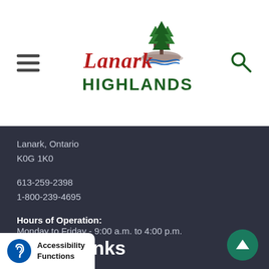[Figure (logo): Lanark Highlands municipal logo with red cursive 'Lanark' text, green pine trees, and green bold 'HIGHLANDS' text]
Lanark, Ontario
K0G 1K0
613-259-2398
1-800-239-4695
Hours of Operation:
Monday to Friday - 9:00 a.m. to 4:00 p.m.
Quick Links
News
Community Events
Agendas